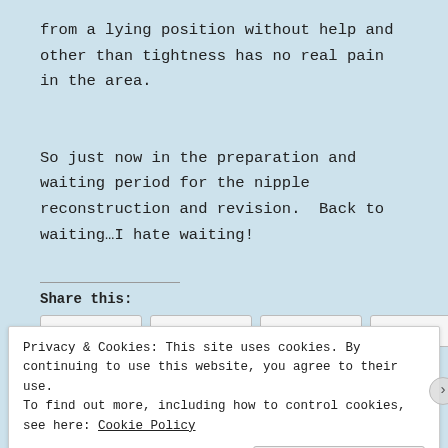from a lying position without help and other than tightness has no real pain in the area.
So just now in the preparation and waiting period for the nipple reconstruction and revision.  Back to waiting…I hate waiting!
Share this:
Privacy & Cookies: This site uses cookies. By continuing to use this website, you agree to their use. To find out more, including how to control cookies, see here: Cookie Policy